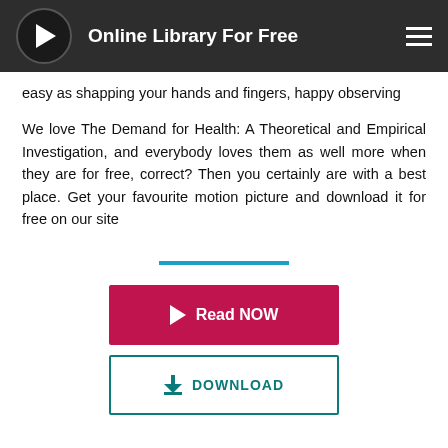Online Library For Free
easy as shapping your hands and fingers, happy observing
We love The Demand for Health: A Theoretical and Empirical Investigation, and everybody loves them as well more when they are for free, correct? Then you certainly are with a best place. Get your favourite motion picture and download it for free on our site
[Figure (other): Horizontal teal/blue divider line]
[Figure (other): Red 'Read NOW' button with play triangle icon]
[Figure (other): White 'DOWNLOAD' button with teal border and download icon]